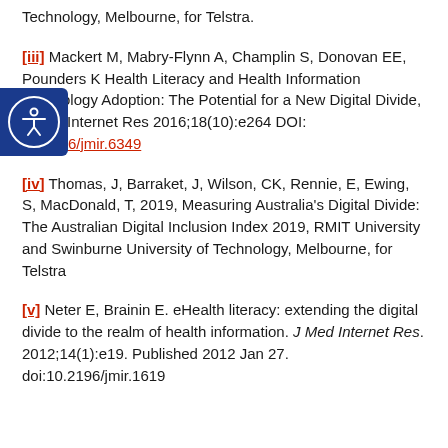Technology, Melbourne, for Telstra.
[iii] Mackert M, Mabry-Flynn A, Champlin S, Donovan EE, Pounders K Health Literacy and Health Information Technology Adoption: The Potential for a New Digital Divide, J Med Internet Res 2016;18(10):e264 DOI: 10.2196/jmir.6349
[iv] Thomas, J, Barraket, J, Wilson, CK, Rennie, E, Ewing, S, MacDonald, T, 2019, Measuring Australia's Digital Divide: The Australian Digital Inclusion Index 2019, RMIT University and Swinburne University of Technology, Melbourne, for Telstra
[v] Neter E, Brainin E. eHealth literacy: extending the digital divide to the realm of health information. J Med Internet Res. 2012;14(1):e19. Published 2012 Jan 27. doi:10.2196/jmir.1619